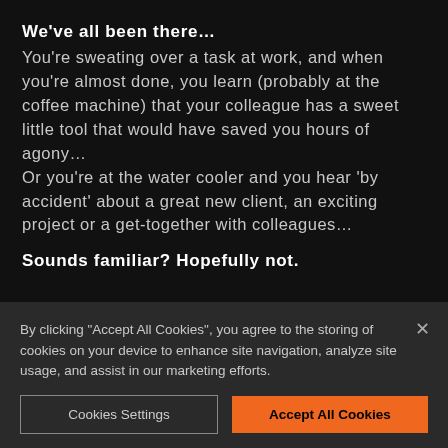We’ve all been there…
You’re sweating over a task at work, and when you’re almost done, you learn (probably at the coffee machine) that your colleague has a sweet little tool that would have saved you hours of agony…
Or you’re at the water cooler and you hear ‘by accident’ about a great new client, an exciting project or a get-together with colleagues…
Sounds familiar? Hopefully not.
By clicking "Accept All Cookies", you agree to the storing of cookies on your device to enhance site navigation, analyze site usage, and assist in our marketing efforts.
Cookies Settings
Accept All Cookies